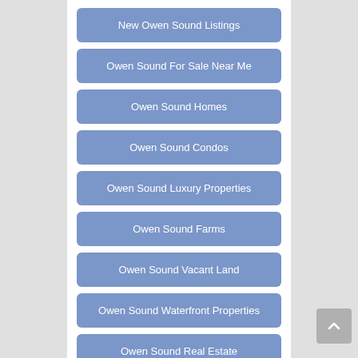New Owen Sound Listings
Owen Sound For Sale Near Me
Owen Sound Homes
Owen Sound Condos
Owen Sound Luxury Properties
Owen Sound Farms
Owen Sound Vacant Land
Owen Sound Waterfront Properties
Owen Sound Real Estate
We can help those who want to buy real estate in Owen Sound, Bognor, Annan, Allenford, Kemble, and surrounding areas of Grey Bruce. And if you are not able to find that idea property, speak with one of our Owen